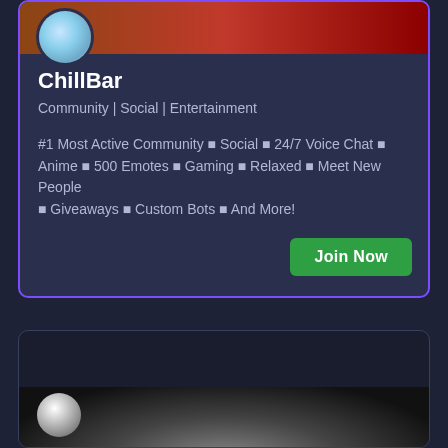ChillBar
Community | Social | Entertainment
#1 Most Active Community 🌐 Social 🌐 24/7 Voice Chat 🌐 Anime 🌐 500 Emotes 🌐 Gaming 🌐 Relaxed 🌐 Meet New People 🌐 Giveaways 🌐 Custom Bots 🌐 And More!
Join Now
[Figure (screenshot): Bottom Discord server card, partially visible, with dark background and a circular avatar at the bottom left]